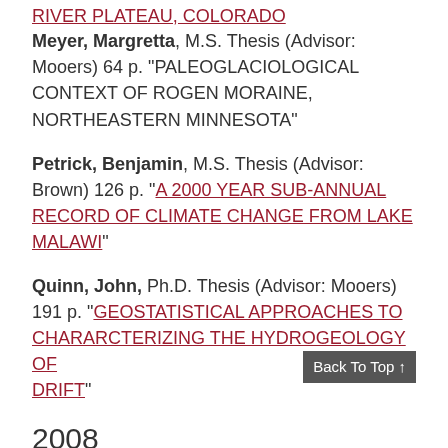RIVER PLATEAU, COLORADO (partial, link at top)
Meyer, Margretta, M.S. Thesis (Advisor: Mooers) 64 p. "PALEOGLACIOLOGICAL CONTEXT OF ROGEN MORAINE, NORTHEASTERN MINNESOTA"
Petrick, Benjamin, M.S. Thesis (Advisor: Brown) 126 p. "A 2000 YEAR SUB-ANNUAL RECORD OF CLIMATE CHANGE FROM LAKE MALAWI"
Quinn, John, Ph.D. Thesis (Advisor: Mooers) 191 p. "GEOSTATISTICAL APPROACHES TO CHARARCTERIZING THE HYDROGEOLOGY OF DRIFT"
2008
Chavula, Geoffrey, WRS Ph.D. Thesis (Advisors: